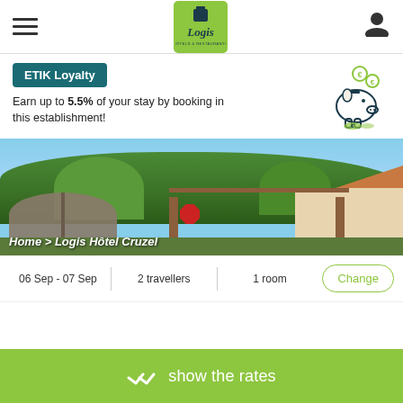[Figure (logo): Logis Hotels & Restaurants logo in green square]
ETIK Loyalty
Earn up to 5.5% of your stay by booking in this establishment!
[Figure (illustration): Piggy bank with coins illustration]
[Figure (photo): Hotel exterior photo showing outdoor terrace with wooden pergola and trees]
Home > Logis Hôtel Cruzel
06 Sep - 07 Sep
2 travellers
1 room
Change
show the rates